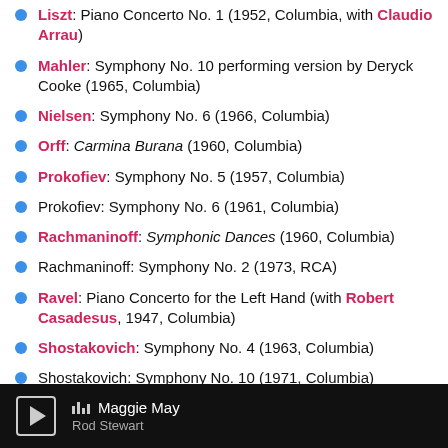Liszt: Piano Concerto No. 1 (1952, Columbia, with Claudio Arrau)
Mahler: Symphony No. 10 performing version by Deryck Cooke (1965, Columbia)
Nielsen: Symphony No. 6 (1966, Columbia)
Orff: Carmina Burana (1960, Columbia)
Prokofiev: Symphony No. 5 (1957, Columbia)
Prokofiev: Symphony No. 6 (1961, Columbia)
Rachmaninoff: Symphonic Dances (1960, Columbia)
Rachmaninoff: Symphony No. 2 (1973, RCA)
Ravel: Piano Concerto for the Left Hand (with Robert Casadesus, 1947, Columbia)
Shostakovich: Symphony No. 4 (1963, Columbia)
Shostakovich: Symphony No. 10 (1971, Columbia)
Shostakovich: Symphony No. 13 "Babi Yar" (with Tom Krause and the Mendelssohn Choir of Philadelphia, 1970, RCA, CD available only in Japan)
Shostakovich: Symphony No. 14 (with Phyllis Curtin and...
Maggie May — Rod Stewart